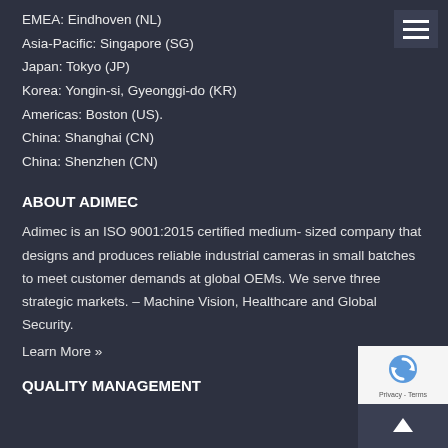EMEA: Eindhoven (NL)
Asia-Pacific: Singapore (SG)
Japan: Tokyo (JP)
Korea: Yongin-si, Gyeonggi-do (KR)
Americas: Boston (US).
China: Shanghai (CN)
China: Shenzhen (CN)
ABOUT ADIMEC
Adimec is an ISO 9001:2015 certified medium- sized company that designs and produces reliable industrial cameras in small batches to meet customer demands at global OEMs. We serve three strategic markets. – Machine Vision, Healthcare and Global Security.
Learn More »
QUALITY MANAGEMENT
[Figure (logo): reCAPTCHA badge with logo and Privacy - Terms text]
[Figure (other): Hamburger menu icon (three horizontal lines) in dark box, top right corner]